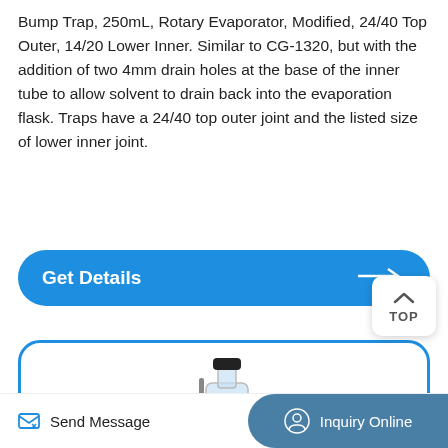Bump Trap, 250mL, Rotary Evaporator, Modified, 24/40 Top Outer, 14/20 Lower Inner. Similar to CG-1320, but with the addition of two 4mm drain holes at the base of the inner tube to allow solvent to drain back into the evaporation flask. Traps have a 24/40 top outer joint and the listed size of lower inner joint.
[Figure (screenshot): Blue rounded rectangle button labeled 'Get Details' with arrow pointing right]
[Figure (screenshot): White rounded square button with chevron up icon and text 'TOP']
[Figure (photo): Lab equipment photo showing a bump trap / glassware assembly with a pressure gauge and blue electronic component, inside a blue-bordered rounded rectangle card]
Send Message   Inquiry Online